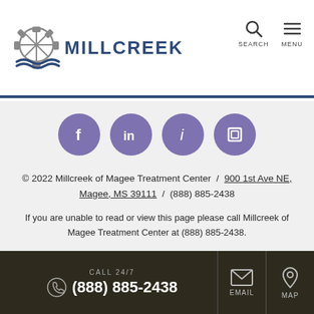[Figure (logo): Millcreek waterwheel logo with blue wave and text MILLCREEK]
[Figure (infographic): Social media icons row: Facebook, LinkedIn, info (healthgrades), square icon - all purple circles]
© 2022 Millcreek of Magee Treatment Center / 900 1st Ave NE, Magee, MS 39111 / (888) 885-2438
If you are unable to read or view this page please call Millcreek of Magee Treatment Center at (888) 885-2438.
Accessibility Notice   Online Privacy Policy
Compliance & Code of Conduct
CALL 24/7 (888) 885-2438   EMAIL   MAP